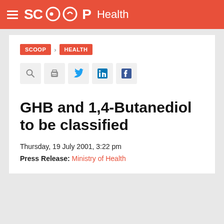SCOOP Health
SCOOP > HEALTH
[Figure (other): Social sharing icons row: search, print, Twitter, LinkedIn, Facebook]
GHB and 1,4-Butanediol to be classified
Thursday, 19 July 2001, 3:22 pm
Press Release: Ministry of Health